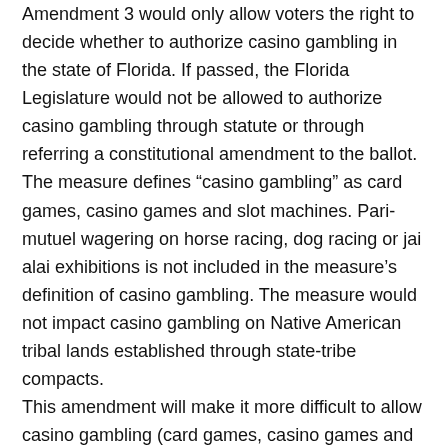Amendment 3 would only allow voters the right to decide whether to authorize casino gambling in the state of Florida. If passed, the Florida Legislature would not be allowed to authorize casino gambling through statute or through referring a constitutional amendment to the ballot. The measure defines “casino gambling” as card games, casino games and slot machines. Pari-mutuel wagering on horse racing, dog racing or jai alai exhibitions is not included in the measure’s definition of casino gambling. The measure would not impact casino gambling on Native American tribal lands established through state-tribe compacts. This amendment will make it more difficult to allow casino gambling (card games, casino games and slot machines). This means that casino gambling will most likely only be available on Seminole/Miccosukee lands.
AMENDMENT 4:
Restoration for Felons’ Voting Rights